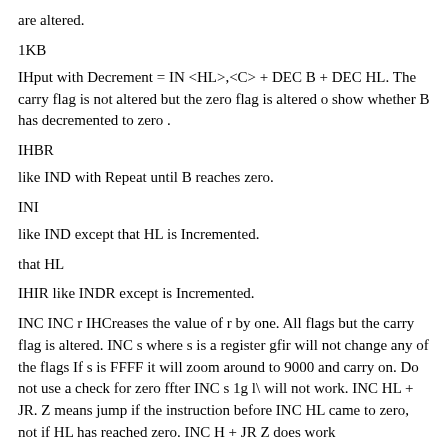are altered.
1KB
IHput with Decrement = IN <HL>,<C> + DEC B + DEC HL. The carry flag is not altered but the zero flag is altered o show whether B has decremented to zero .
IHBR
like IND with Repeat until B reaches zero.
INI
like IND except that HL is Incremented.
that HL
IHIR like INDR except is Incremented.
INC INC r IHCreases the value of r by one. All flags but the carry flag is altered. INC s where s is a register gfir will not change any of the flags If s is FFFF it will zoom around to 9000 and carry on. Do not use a check for zero ffter INC s 1g l\ will not work. INC HL + JR. Z means jump if the instruction before INC HL came to zero, not if HL has reached zero. INC H + JR Z does work